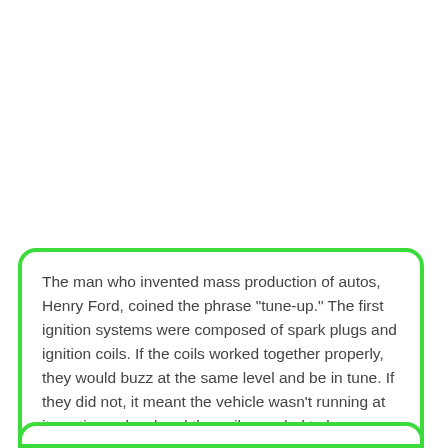The man who invented mass production of autos, Henry Ford, coined the phrase "tune-up." The first ignition systems were composed of spark plugs and ignition coils. If the coils worked together properly, they would buzz at the same level and be in tune. If they did not, it meant the vehicle wasn't running at its optimum level and the coils needed to be adjusted, or tuned up.